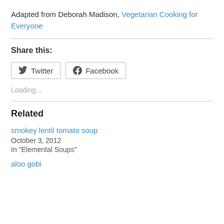Adapted from Deborah Madison, Vegetarian Cooking for Everyone
Share this:
Loading...
Related
smokey lentil tomato soup
October 3, 2012
In "Elemental Soups"
aloo gobi